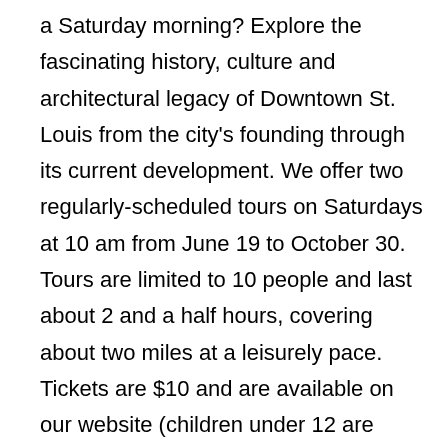a Saturday morning? Explore the fascinating history, culture and architectural legacy of Downtown St. Louis from the city's founding through its current development. We offer two regularly-scheduled tours on Saturdays at 10 am from June 19 to October 30. Tours are limited to 10 people and last about 2 and a half hours, covering about two miles at a leisurely pace. Tickets are $10 and are available on our website (children under 12 are free). EAST TOUR: Explore the architectural legacy of the heart of the city. From the bustling Riverfront of the French-America entrepreneurs to the skyscrapers of the 20th century, you'll find famous architectural and engineering marvels, including these highlights: Old Courthouse | Old Cathedral | Eads Bridge | Gateway Arch | Old Post Office | Wainwright Building WEST TOUR: St. Louis' grandest public buildings are a testament